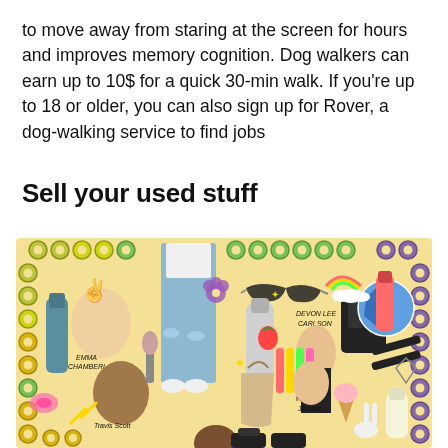to move away from staring at the screen for hours and improves memory cognition. Dog walkers can earn up to 10$ for a quick 30-min walk. If you're up to 18 or older, you can also sign up for Rover, a dog-walking service to find jobs
Sell your used stuff
[Figure (illustration): A colorful collage illustration on a yellow background featuring various youth-culture items and celebrities including Emma Chamberlain, Devon Lee Carlson, Travis Scott, Kendall Jenner, sunglasses, backpack, beauty products, markers, soccer ball, and decorative donut ring patterns around the border.]